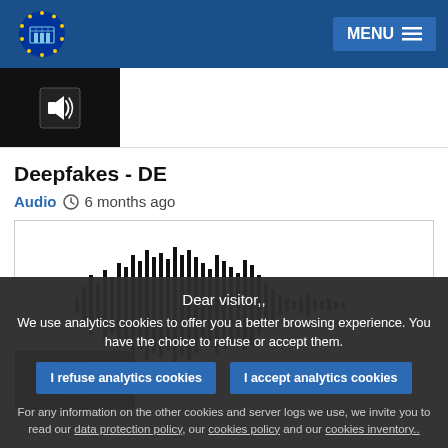European Parliament — MENU
[Figure (screenshot): Audio thumbnail with speaker/sound icon on dark background, first audio item]
Deepfakes - DE
Audio  6 months ago
[Figure (other): Audio waveform visualization showing sound wave bars in black on white background]
Dear visitor,, We use analytics cookies to offer you a better browsing experience. You have the choice to refuse or accept them.
I refuse analytics cookies    I accept analytics cookies
For any information on the other cookies and server logs we use, we invite you to read our data protection policy, our cookies policy and our cookies inventory..